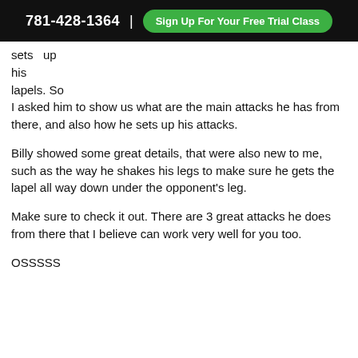781-428-1364 | Sign Up For Your Free Trial Class
sets  up
his
lapels. So
I asked him to show us what are the main attacks he has from there, and also how he sets up his attacks.
Billy showed some great details, that were also new to me, such as the way he shakes his legs to make sure he gets the lapel all way down under the opponent's leg.
Make sure to check it out. There are 3 great attacks he does from there that I believe can work very well for you too.
OSSSSS